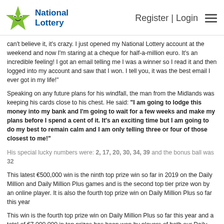National Lottery — Register | Login
can't believe it, it's crazy. I just opened my National Lottery account at the weekend and now I'm staring at a cheque for half-a-million euro. It's an incredible feeling! I got an email telling me I was a winner so I read it and then logged into my account and saw that I won. I tell you, it was the best email I ever got in my life!
Speaking on any future plans for his windfall, the man from the Midlands was keeping his cards close to his chest. He said: "I am going to lodge this money into my bank and I'm going to wait for a few weeks and make my plans before I spend a cent of it. It's an exciting time but I am going to do my best to remain calm and I am only telling three or four of those closest to me!"
His special lucky numbers were: 2, 17, 20, 30, 34, 39 and the bonus ball was 32
This latest €500,000 win is the ninth top prize win so far in 2019 on the Daily Million and Daily Million Plus games and is the second top tier prize won by an online player. It is also the fourth top prize win on Daily Million Plus so far this year
This win is the fourth top prize win on Daily Million Plus so far this year and a total of €7,000,000 in top prizes has been won by players of both our Daily Million and Daily MillionPlus games in 2019.
Almost 30 cent in every euro spent on National Lottery games goes back to Good Causes in the areas of sport, health, arts, culture, heritage, youth, community and the Irish language. Last year alone over €227 million was returned to the areas...